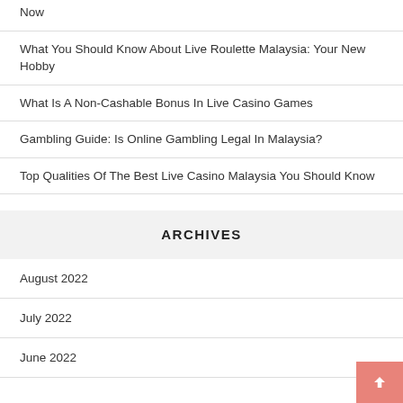Now
What You Should Know About Live Roulette Malaysia: Your New Hobby
What Is A Non-Cashable Bonus In Live Casino Games
Gambling Guide: Is Online Gambling Legal In Malaysia?
Top Qualities Of The Best Live Casino Malaysia You Should Know
ARCHIVES
August 2022
July 2022
June 2022